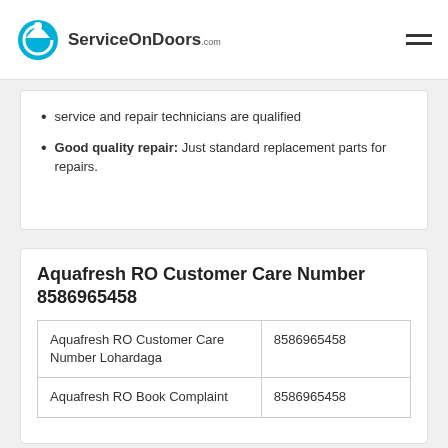ServiceOnDoors.com
service and repair technicians are qualified
Good quality repair: Just standard replacement parts for repairs.
Aquafresh RO Customer Care Number 8586965458
|  |  |
| --- | --- |
| Aquafresh RO Customer Care Number Lohardaga | 8586965458 |
| Aquafresh RO Book Complaint | 8586965458 |